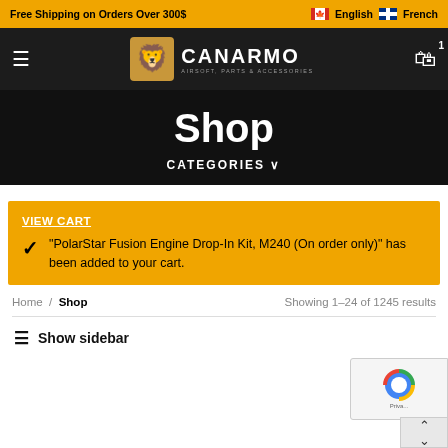Free Shipping on Orders Over 300$
[Figure (logo): Canarmo Airsoft Parts & Accessories logo with lion emblem on dark background]
Shop
CATEGORIES ∨
VIEW CART
"PolarStar Fusion Engine Drop-In Kit, M240 (On order only)" has been added to your cart.
Home / Shop
Showing 1–24 of 1245 results
≡ Show sidebar